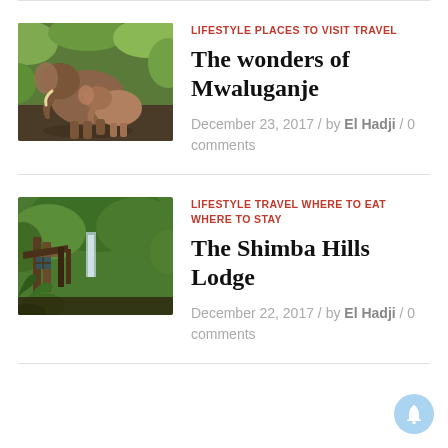[Figure (photo): Two elephants (an adult and a baby) standing together in green forest vegetation]
LIFESTYLE PLACES TO VISIT TRAVEL
The wonders of Mwaluganje
December 23, 2017 / by El Hadji / 0 comments
[Figure (photo): Wooden lodge structure surrounded by dense tropical green forest, with plants in the foreground]
LIFESTYLE TRAVEL WHERE TO EAT WHERE TO STAY
The Shimba Hills Lodge
December 22, 2017 / by El Hadji / 0 comments